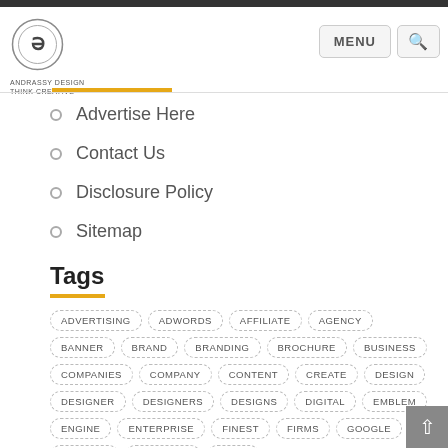Andrassy Design header with logo, MENU button, and search button
Advertise Here
Contact Us
Disclosure Policy
Sitemap
Tags
ADVERTISING ADWORDS AFFILIATE AGENCY BANNER BRAND BRANDING BROCHURE BUSINESS COMPANIES COMPANY CONTENT CREATE DESIGN DESIGNER DESIGNERS DESIGNS DIGITAL EMBLEM ENGINE ENTERPRISE FINEST FIRMS GOOGLE GRAPHIC GREATEST IDEAS